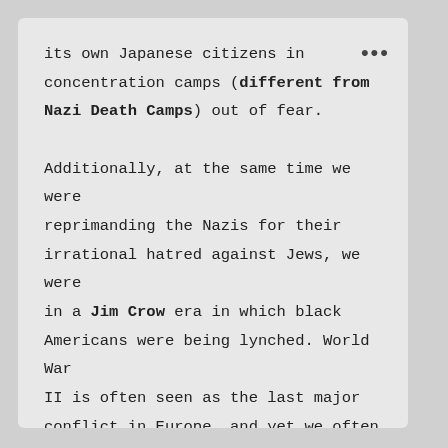its own Japanese citizens in concentration camps (different from Nazi Death Camps) out of fear.

Additionally, at the same time we were reprimanding the Nazis for their irrational hatred against Jews, we were in a Jim Crow era in which black Americans were being lynched. World War II is often seen as the last major conflict in Europe, and yet we often fail to acknowledge the Yugoslav Wars in the 1990s, during which 100,000 people were killed and two million people became